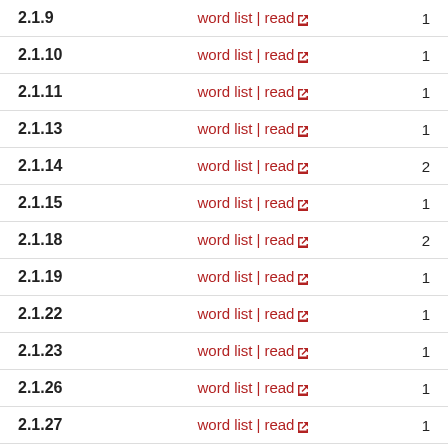|  |  |  |
| --- | --- | --- |
| 2.1.9 | word list | read ↗ | 1 |
| 2.1.10 | word list | read ↗ | 1 |
| 2.1.11 | word list | read ↗ | 1 |
| 2.1.13 | word list | read ↗ | 1 |
| 2.1.14 | word list | read ↗ | 2 |
| 2.1.15 | word list | read ↗ | 1 |
| 2.1.18 | word list | read ↗ | 2 |
| 2.1.19 | word list | read ↗ | 1 |
| 2.1.22 | word list | read ↗ | 1 |
| 2.1.23 | word list | read ↗ | 1 |
| 2.1.26 | word list | read ↗ | 1 |
| 2.1.27 | word list | read ↗ | 1 |
| 2.1.28 | word list | read ↗ | 1 |